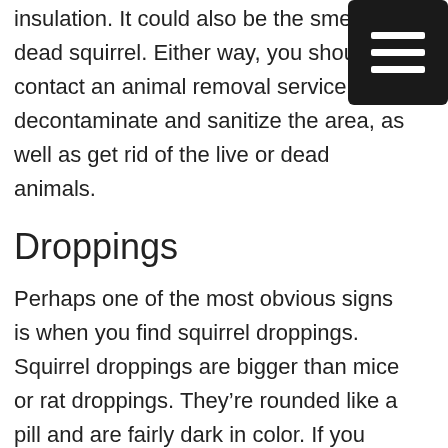insulation. It could also be the smell of dead squirrel. Either way, you should contact an animal removal service to decontaminate and sanitize the area, as well as get rid of the live or dead animals.
[Figure (other): Black hamburger menu icon (three horizontal white lines on dark background)]
Droppings
Perhaps one of the most obvious signs is when you find squirrel droppings. Squirrel droppings are bigger than mice or rat droppings. They’re rounded like a pill and are fairly dark in color. If you can’t identify the droppings, it’s no problem. Animal Remover will determine the animal origin and whether or not you still have squirrels in the attic.
Exterior Entry Points